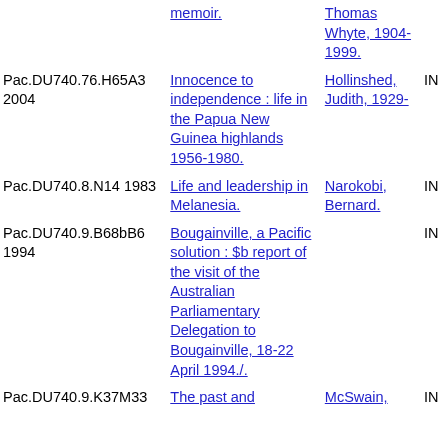| Call Number | Title | Author | Status |
| --- | --- | --- | --- |
|  | memoir. | Thomas Whyte, 1904-1999. |  |
| Pac.DU740.76.H65A3 2004 | Innocence to independence : life in the Papua New Guinea highlands 1956-1980. | Hollinshed, Judith, 1929- | IN |
| Pac.DU740.8.N14 1983 | Life and leadership in Melanesia. | Narokobi, Bernard. | IN |
| Pac.DU740.9.B68bB6 1994 | Bougainville, a Pacific solution : $b report of the visit of the Australian Parliamentary Delegation to Bougainville, 18-22 April 1994./. |  | IN |
| Pac.DU740.9.K37M33 | The past and | McSwain, | IN |